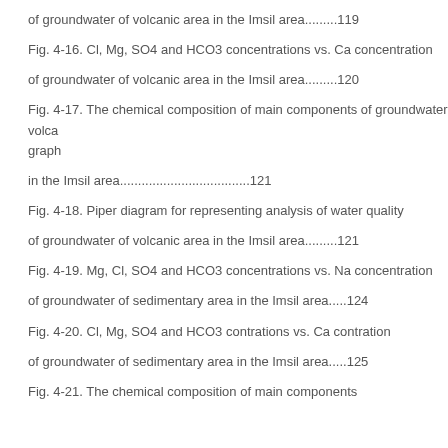of groundwater of volcanic area in the Imsil area.........119
Fig. 4-16. Cl, Mg, SO4 and HCO3 concentrations vs. Ca concentration
of groundwater of volcanic area in the Imsil area.........120
Fig. 4-17. The chemical composition of main components of groundwater of volcanic graph
in the Imsil area....................................121
Fig. 4-18. Piper diagram for representing analysis of water quality
of groundwater of volcanic area in the Imsil area.........121
Fig. 4-19. Mg, Cl, SO4 and HCO3 concentrations vs. Na concentration
of groundwater of sedimentary area in the Imsil area.....124
Fig. 4-20. Cl, Mg, SO4 and HCO3 contrations vs. Ca contration
of groundwater of sedimentary area in the Imsil area.....125
Fig. 4-21. The chemical composition of main components